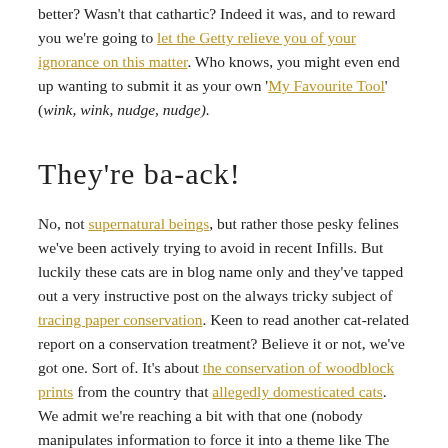better? Wasn't that cathartic? Indeed it was, and to reward you we're going to let the Getty relieve you of your ignorance on this matter. Who knows, you might even end up wanting to submit it as your own 'My Favourite Tool' (wink, wink, nudge, nudge).
They're ba-ack!
No, not supernatural beings, but rather those pesky felines we've been actively trying to avoid in recent Infills. But luckily these cats are in blog name only and they've tapped out a very instructive post on the always tricky subject of tracing paper conservation. Keen to read another cat-related report on a conservation treatment? Believe it or not, we've got one. Sort of. It's about the conservation of woodblock prints from the country that allegedly domesticated cats. We admit we're reaching a bit with that one (nobody manipulates information to force it into a theme like The Infill!), but this one is 100% pure cat conservation: it's Tigger!
Speaking of what's ba-ack: remember long ago in 2001 when the Taliban destroyed those massive Buddhas carved into a cliff